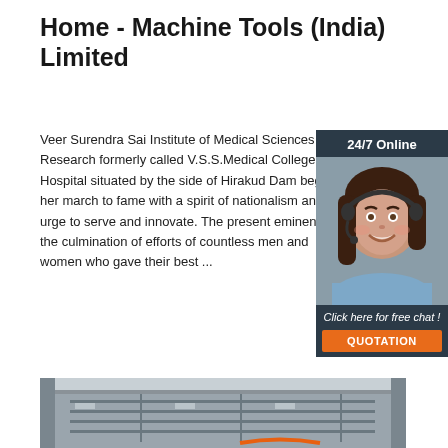Home - Machine Tools (India) Limited
Veer Surendra Sai Institute of Medical Sciences and Research formerly called V.S.S.Medical College and Hospital situated by the side of Hirakud Dam began her march to fame with a spirit of nationalism and an urge to serve and innovate. The present eminence is the culmination of efforts of countless men and women who gave their best ...
[Figure (photo): Customer service representative woman with headset, 24/7 Online chat widget with Click here for free chat and QUOTATION button]
[Figure (photo): Industrial machine tools photograph showing machinery interior]
Get Price